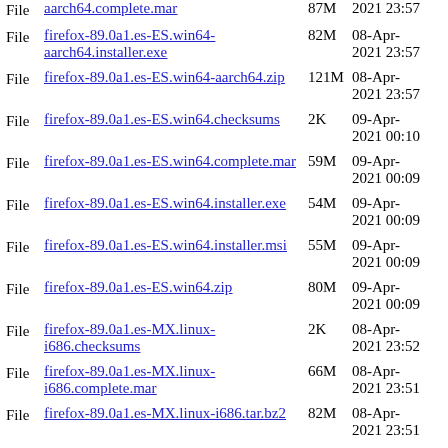File  aarch64.complete.mar  87M  2021 23:57
File  firefox-89.0a1.es-ES.win64-aarch64.installer.exe  82M  08-Apr-2021 23:57
File  firefox-89.0a1.es-ES.win64-aarch64.zip  121M  08-Apr-2021 23:57
File  firefox-89.0a1.es-ES.win64.checksums  2K  09-Apr-2021 00:10
File  firefox-89.0a1.es-ES.win64.complete.mar  59M  09-Apr-2021 00:09
File  firefox-89.0a1.es-ES.win64.installer.exe  54M  09-Apr-2021 00:09
File  firefox-89.0a1.es-ES.win64.installer.msi  55M  09-Apr-2021 00:09
File  firefox-89.0a1.es-ES.win64.zip  80M  09-Apr-2021 00:09
File  firefox-89.0a1.es-MX.linux-i686.checksums  2K  08-Apr-2021 23:52
File  firefox-89.0a1.es-MX.linux-i686.complete.mar  66M  08-Apr-2021 23:51
File  firefox-89.0a1.es-MX.linux-i686.tar.bz2  82M  08-Apr-2021 23:51
File  firefox-89.0a1.es-MX.linux-i686.tar.bz2.asc  833  08-Apr-2021 23:51